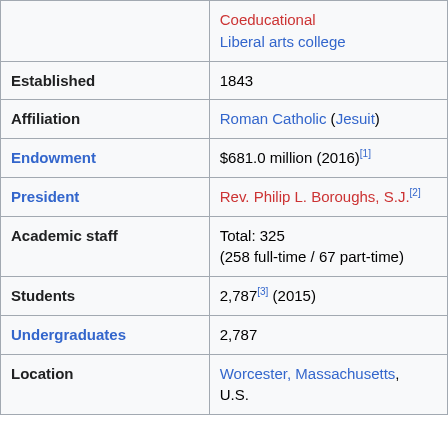| Field | Value |
| --- | --- |
|  | Coeducational
Liberal arts college |
| Established | 1843 |
| Affiliation | Roman Catholic (Jesuit) |
| Endowment | $681.0 million (2016)[1] |
| President | Rev. Philip L. Boroughs, S.J.[2] |
| Academic staff | Total: 325
(258 full-time / 67 part-time) |
| Students | 2,787[3] (2015) |
| Undergraduates | 2,787 |
| Location | Worcester, Massachusetts, U.S. |